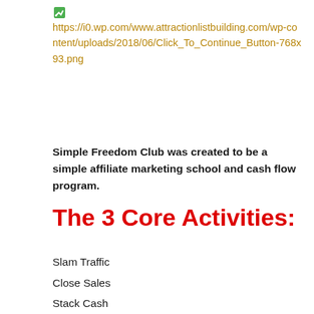[Figure (other): Small green pencil/edit icon]
https://i0.wp.com/www.attractionlistbuilding.com/wp-content/uploads/2018/06/Click_To_Continue_Button-768x93.png
Simple Freedom Club was created to be a simple affiliate marketing school and cash flow program.
The 3 Core Activities:
Slam Traffic
Close Sales
Stack Cash